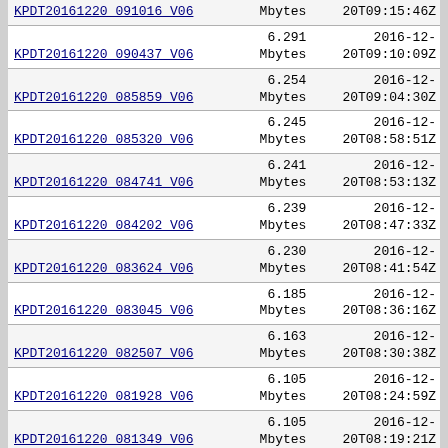| Name | Size | Date |
| --- | --- | --- |
| KPDT20161220_091016_V06 | Mbytes | 20T09:15:46Z |
| KPDT20161220_090437_V06 | 6.291
Mbytes | 2016-12-
20T09:10:09Z |
| KPDT20161220_085859_V06 | 6.254
Mbytes | 2016-12-
20T09:04:30Z |
| KPDT20161220_085320_V06 | 6.245
Mbytes | 2016-12-
20T08:58:51Z |
| KPDT20161220_084741_V06 | 6.241
Mbytes | 2016-12-
20T08:53:13Z |
| KPDT20161220_084202_V06 | 6.239
Mbytes | 2016-12-
20T08:47:33Z |
| KPDT20161220_083624_V06 | 6.230
Mbytes | 2016-12-
20T08:41:54Z |
| KPDT20161220_083045_V06 | 6.185
Mbytes | 2016-12-
20T08:36:16Z |
| KPDT20161220_082507_V06 | 6.163
Mbytes | 2016-12-
20T08:30:38Z |
| KPDT20161220_081928_V06 | 6.105
Mbytes | 2016-12-
20T08:24:59Z |
| KPDT20161220_081349_V06 | 6.105
Mbytes | 2016-12-
20T08:19:21Z |
| KPDT20161220_080810_V06 | 6.114
Mbytes | 2016-12-
20T08:13:41Z |